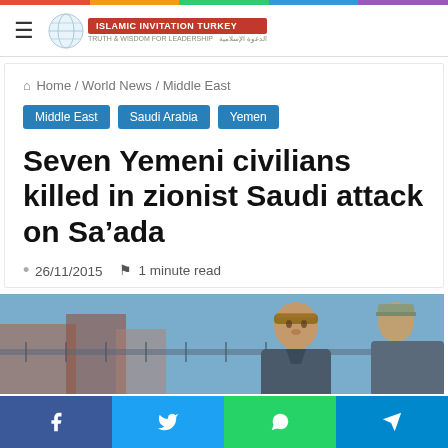Islamic Invitation Turkey — website header with logo and navigation hamburger menu
Home / World News / Middle East
Middle East
Saudi Arabia
Yemen
Seven Yemeni civilians killed in zionist Saudi attack on Sa'ada
26/11/2015   1 minute read
[Figure (photo): Photo of Yemeni men, one in foreground with cloth headband and jacket, another partially visible on right wearing a cap, outdoor setting with blurred background]
Social share bar: Facebook, Twitter, WhatsApp, Telegram